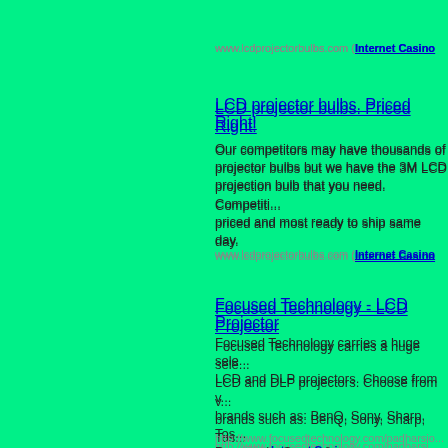www.lcdprojectorbulbs.com (Internet Casino
LCD projector bulbs. Priced Right!
Our competitors may have thousands of projector bulbs but we have the 3M LCD projection bulb that you need. Competitively priced and most ready to ship same day.
www.lcdprojectorbulbs.com (Internet Casino
Focused Technology - LCD Projector
Focused Technology carries a huge selection of LCD and DLP projectors. Choose from well known brands such as: BenQ, Sony, Sharp, Toshiba, Panasonic, Sanyo & more.
http://www.focusedtechnology.com/padharsiorb=4764 (Internet Casino)
Buy LCD Projectors At inStore
Visit inStore by AOL®, the new quick and